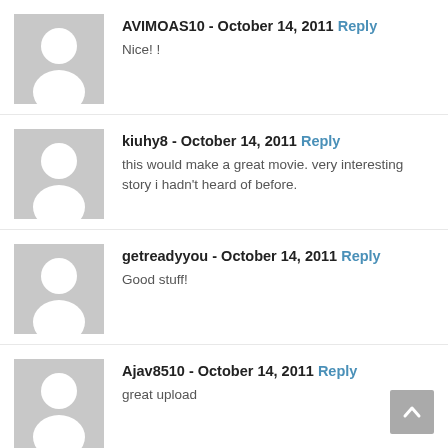AVIMOAS10 - October 14, 2011 Reply
Nice! !
kiuhy8 - October 14, 2011 Reply
this would make a great movie. very interesting story i hadn't heard of before.
getreadyyou - October 14, 2011 Reply
Good stuff!
Ajav8510 - October 14, 2011 Reply
great upload
MegaSuzukiboy - October 14, 2011 Reply
this is very intresting